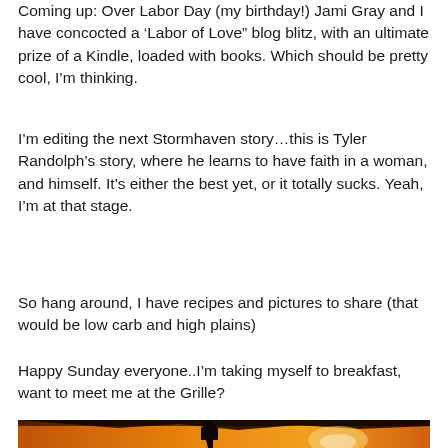Coming up: Over Labor Day (my birthday!) Jami Gray and I have concocted a ‘Labor of Love” blog blitz, with an ultimate prize of a Kindle, loaded with books. Which should be pretty cool, I’m thinking.
I’m editing the next Stormhaven story…this is Tyler Randolph’s story, where he learns to have faith in a woman, and himself. It’s either the best yet, or it totally sucks. Yeah, I’m at that stage.
So hang around, I have recipes and pictures to share (that would be low carb and high plains)
Happy Sunday everyone..I’m taking myself to breakfast, want to meet me at the Grille?
[Figure (photo): Silhouette photograph of a person against an orange sunset sky background]